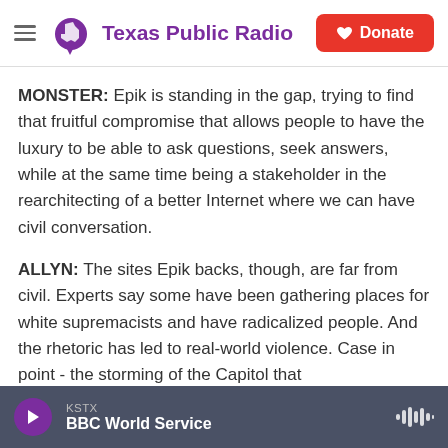Texas Public Radio
MONSTER: Epik is standing in the gap, trying to find that fruitful compromise that allows people to have the luxury to be able to ask questions, seek answers, while at the same time being a stakeholder in the rearchitecting of a better Internet where we can have civil conversation.
ALLYN: The sites Epik backs, though, are far from civil. Experts say some have been gathering places for white supremacists and have radicalized people. And the rhetoric has led to real-world violence. Case in point - the storming of the Capitol that…
KSTX BBC World Service